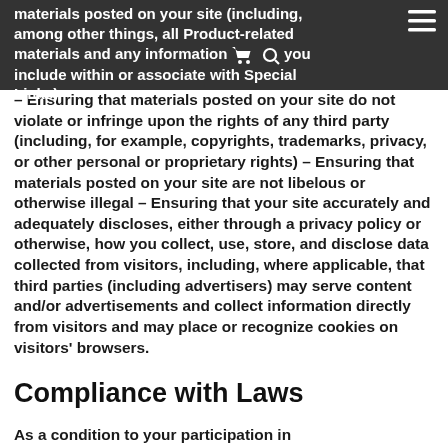materials posted on your site (including, among other things, all Product-related materials and any information you include within or associate with Special Links)
– Ensuring that materials posted on your site do not violate or infringe upon the rights of any third party (including, for example, copyrights, trademarks, privacy, or other personal or proprietary rights) – Ensuring that materials posted on your site are not libelous or otherwise illegal – Ensuring that your site accurately and adequately discloses, either through a privacy policy or otherwise, how you collect, use, store, and disclose data collected from visitors, including, where applicable, that third parties (including advertisers) may serve content and/or advertisements and collect information directly from visitors and may place or recognize cookies on visitors' browsers.
Compliance with Laws
As a condition to your participation in